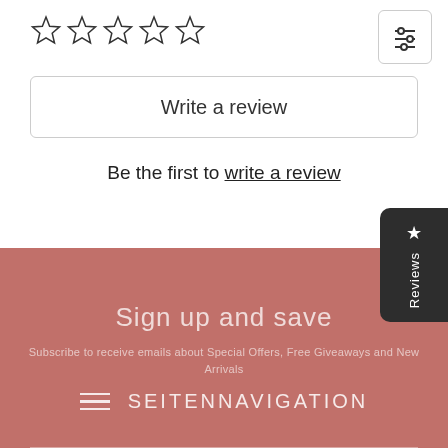[Figure (other): Five empty star rating icons in a row]
[Figure (other): Filter/settings icon button in top right corner]
Write a review
Be the first to write a review
[Figure (other): Reviews tab button on right side with star icon]
Sign up and save
Subscribe to receive emails about Special Offers, Free Giveaways and New Arrivals
≡ SEITENNAVIGATION